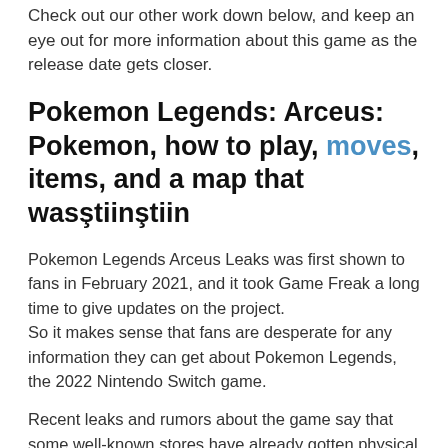Check out our other work down below, and keep an eye out for more information about this game as the release date gets closer.
Pokemon Legends: Arceus: Pokemon, how to play, moves, items, and a map that wasstiinstiin
Pokemon Legends Arceus Leaks was first shown to fans in February 2021, and it took Game Freak a long time to give updates on the project.
So it makes sense that fans are desperate for any information they can get about Pokemon Legends, the 2022 Nintendo Switch game.
Recent leaks and rumors about the game say that some well-known stores have already gotten physical copies of the “to be released” game.